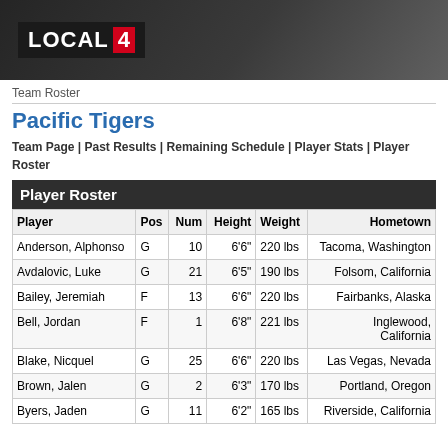LOCAL 4
Team Roster
Pacific Tigers
Team Page | Past Results | Remaining Schedule | Player Stats | Player Roster
Player Roster
| Player | Pos | Num | Height | Weight | Hometown |
| --- | --- | --- | --- | --- | --- |
| Anderson, Alphonso | G | 10 | 6'6" | 220 lbs | Tacoma, Washington |
| Avdalovic, Luke | G | 21 | 6'5" | 190 lbs | Folsom, California |
| Bailey, Jeremiah | F | 13 | 6'6" | 220 lbs | Fairbanks, Alaska |
| Bell, Jordan | F | 1 | 6'8" | 221 lbs | Inglewood, California |
| Blake, Nicquel | G | 25 | 6'6" | 220 lbs | Las Vegas, Nevada |
| Brown, Jalen | G | 2 | 6'3" | 170 lbs | Portland, Oregon |
| Byers, Jaden | G | 11 | 6'2" | 165 lbs | Riverside, California |